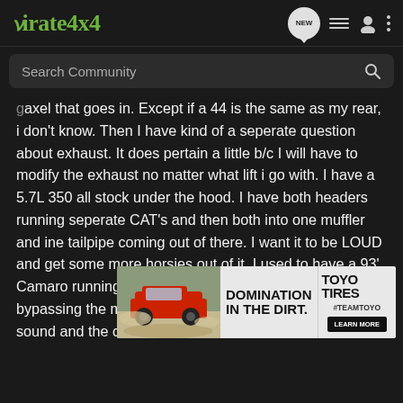Pirate4x4
Search Community
axel that goes in. Except if a 44 is the same as my rear, i don't know. Then I have kind of a seperate question about exhaust. It does pertain a little b/c I will have to modify the exhaust no matter what lift i go with. I have a 5.7L 350 all stock under the hood. I have both headers running seperate CAT's and then both into one muffler and ine tailpipe coming out of there. I want it to be LOUD and get some more horsies out of it. I used to have a 93' Camaro running an open x-haust just after the cat bypassing the muffler and I was very pleased with that sound and the cost to do the whole sytem was very low. (like 70 bucks for the cutout and to have a buddies shop to make a turndown and weld it together for me) Originally I was going to just ditch the muffler all together and have each header just dump into a seperate ... talking to a fam... and
[Figure (screenshot): Toyo Tires advertisement banner showing a truck driving in dirt with text 'DOMINATION IN THE DIRT.' and Toyo Tires #TEAMTOYO logo with LEARN MORE button]